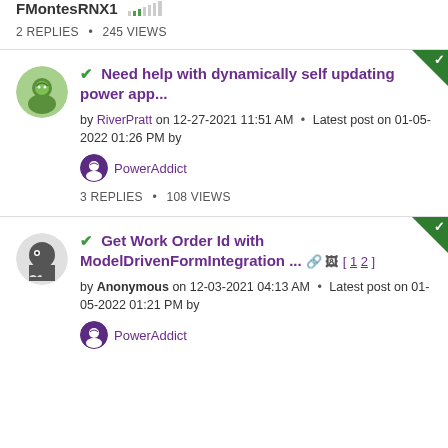FMontesRNX1 • 2 REPLIES • 245 VIEWS
✔ Need help with dynamically self updating power app... by RiverPratt on 12-27-2021 11:51 AM • Latest post on 01-05-2022 01:26 PM by PowerAddict — 3 REPLIES • 108 VIEWS
✔ Get Work Order Id with ModelDrivenFormIntegration ... [1 2] by Anonymous on 12-03-2021 04:13 AM • Latest post on 01-05-2022 01:21 PM by PowerAddict